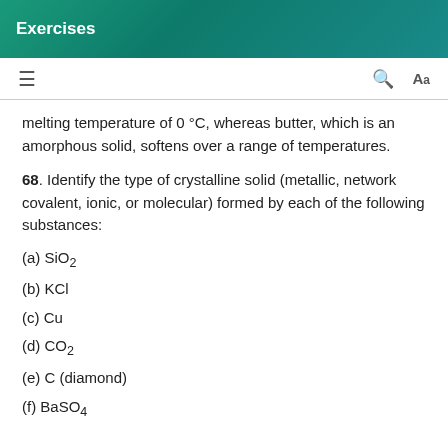Exercises
melting temperature of 0 °C, whereas butter, which is an amorphous solid, softens over a range of temperatures.
68. Identify the type of crystalline solid (metallic, network covalent, ionic, or molecular) formed by each of the following substances:
(a) SiO2
(b) KCl
(c) Cu
(d) CO2
(e) C (diamond)
(f) BaSO4